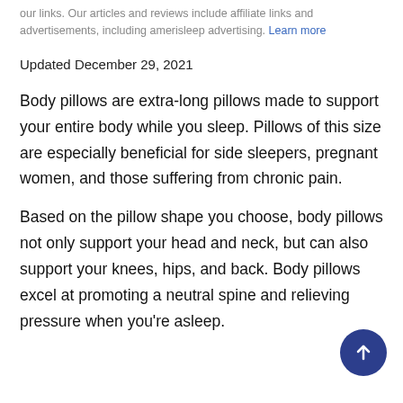our links. Our articles and reviews include affiliate links and advertisements, including amerisleep advertising. Learn more
Updated December 29, 2021
Body pillows are extra-long pillows made to support your entire body while you sleep. Pillows of this size are especially beneficial for side sleepers, pregnant women, and those suffering from chronic pain.
Based on the pillow shape you choose, body pillows not only support your head and neck, but can also support your knees, hips, and back. Body pillows excel at promoting a neutral spine and relieving pressure when you're asleep.